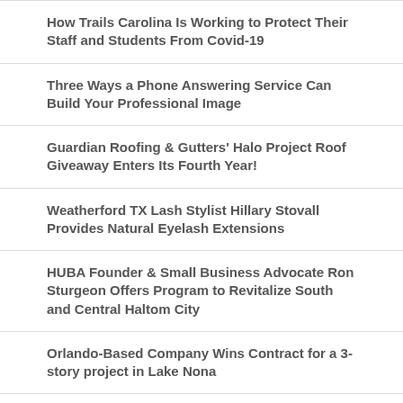How Trails Carolina Is Working to Protect Their Staff and Students From Covid-19
Three Ways a Phone Answering Service Can Build Your Professional Image
Guardian Roofing & Gutters' Halo Project Roof Giveaway Enters Its Fourth Year!
Weatherford TX Lash Stylist Hillary Stovall Provides Natural Eyelash Extensions
HUBA Founder & Small Business Advocate Ron Sturgeon Offers Program to Revitalize South and Central Haltom City
Orlando-Based Company Wins Contract for a 3-story project in Lake Nona